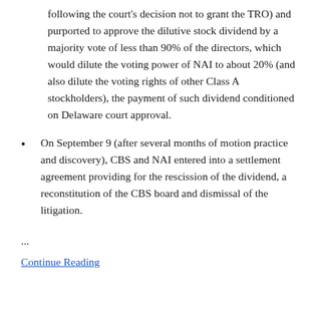following the court's decision not to grant the TRO) and purported to approve the dilutive stock dividend by a majority vote of less than 90% of the directors, which would dilute the voting power of NAI to about 20% (and also dilute the voting rights of other Class A stockholders), the payment of such dividend conditioned on Delaware court approval.
On September 9 (after several months of motion practice and discovery), CBS and NAI entered into a settlement agreement providing for the rescission of the dividend, a reconstitution of the CBS board and dismissal of the litigation.
...
Continue Reading